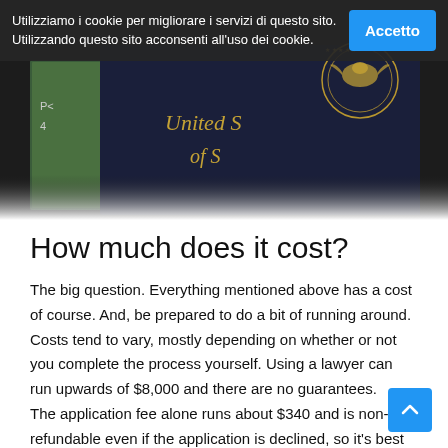[Figure (photo): Photo of a US passport with gold lettering 'United States of America' and eagle emblem on dark blue cover, with a green document partially visible on the left edge]
Utilizziamo i cookie per migliorare i servizi di questo sito. Utilizzando questo sito acconsenti all'uso dei cookie. [Accetto]
How much does it cost?
The big question. Everything mentioned above has a cost of course. And, be prepared to do a bit of running around. Costs tend to vary, mostly depending on whether or not you complete the process yourself. Using a lawyer can run upwards of $8,000 and there are no guarantees.
The application fee alone runs about $340 and is non-refundable even if the application is declined, so it's best to be absolutely sure that you have everything in order before you submit.
Birth, marriage and death certificates run between $25-50 each depending on your state. An Apostille is $25 per document. The most expensive part of the process of applying is having...